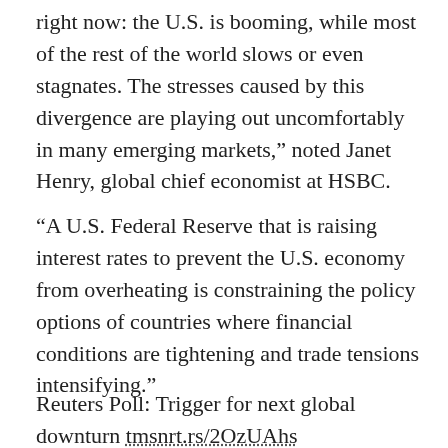right now: the U.S. is booming, while most of the rest of the world slows or even stagnates. The stresses caused by this divergence are playing out uncomfortably in many emerging markets,” noted Janet Henry, global chief economist at HSBC.
“A U.S. Federal Reserve that is raising interest rates to prevent the U.S. economy from overheating is constraining the policy options of countries where financial conditions are tightening and trade tensions intensifying.”
Reuters Poll: Trigger for next global downturn tmsnrt.rs/2OzUAhs